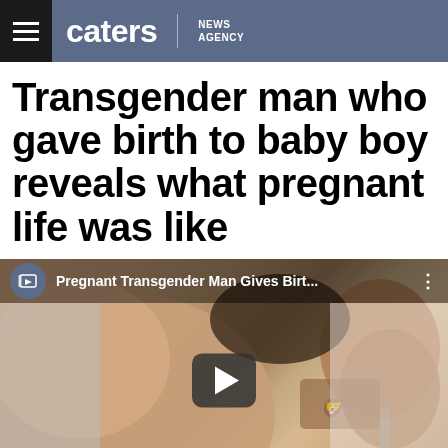caters NEWS AGENCY
Transgender man who gave birth to baby boy reveals what pregnant life was like
[Figure (screenshot): Video thumbnail showing a pregnant transgender man leaning forward, with a video player overlay. Top bar shows Caters logo and title 'Pregnant Transgender Man Gives Birt...' with a play button in the center.]